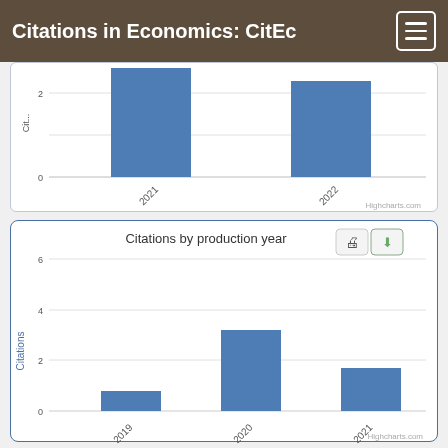Citations in Economics: CitEc
[Figure (bar-chart): Citations by citation year (partial top)]
[Figure (bar-chart): Citations by production year]